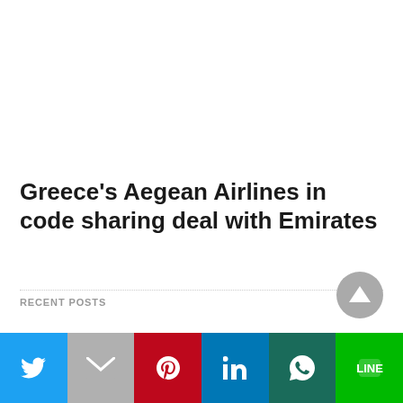Greece’s Aegean Airlines in code sharing deal with Emirates
RECENT POSTS
[Figure (other): Scroll to top button - grey circular button with upward arrow triangle]
[Figure (other): Social sharing bar with Twitter, Gmail, Pinterest, LinkedIn, WhatsApp, and LINE buttons]